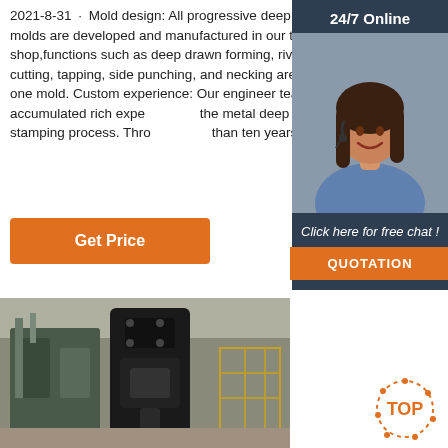2021-8-31u2002·u2002Mold design: All progressive deep drawing molds are developed and manufactured in our tools shop,functions such as deep drawn forming, riveting, rotary cutting, tapping, side punching, and necking are achieved in one mold. Custom experience: Our engineer team has accumulated rich experience in the metal deep drawn stamping process. Through more than ten years of work …
Get Price
[Figure (screenshot): Sidebar widget with 24/7 Online label, customer service agent photo, Click here for free chat text, and QUOTATION button on dark blue background]
[Figure (photo): Industrial manufacturing workshop with heavy metal stamping/deep drawing machinery]
[Figure (logo): TOP badge with dotted orange circle design in bottom right corner]